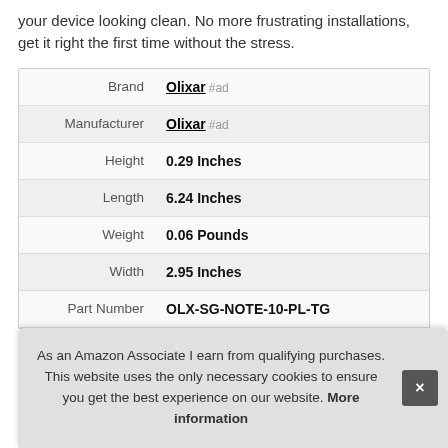your device looking clean. No more frustrating installations, get it right the first time without the stress.
|  |  |
| --- | --- |
| Brand | Olixar #ad |
| Manufacturer | Olixar #ad |
| Height | 0.29 Inches |
| Length | 6.24 Inches |
| Weight | 0.06 Pounds |
| Width | 2.95 Inches |
| Part Number | OLX-SG-NOTE-10-PL-TG |
As an Amazon Associate I earn from qualifying purchases. This website uses the only necessary cookies to ensure you get the best experience on our website. More information